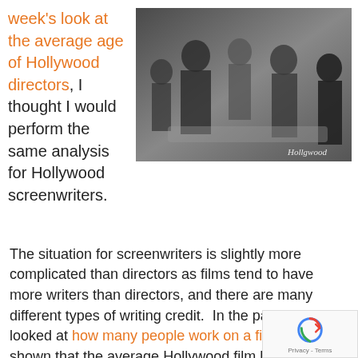week's look at the average age of Hollywood directors, I thought I would perform the same analysis for Hollywood screenwriters.
[Figure (photo): Group photo of Hollywood directors/screenwriters from The Hollywood Reporter, showing several people seated and standing in a stylish interior setting.]
The situation for screenwriters is slightly more complicated than directors as films tend to have more writers than directors, and there are many different types of writing credit.  In the past, I have looked at how many people work on a film, and shown that the average Hollywood film has 3.5 writers.  However, this number is slightly suppressed due to the rules of the Writers Guild of America (WGA), which limits how many people can be officially credited.